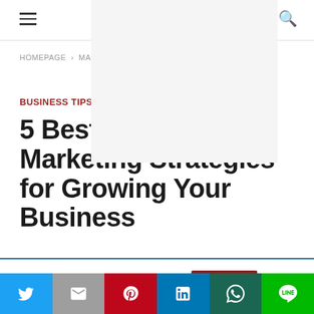Navigation bar with hamburger menu and search icon
HOMEPAGE › MAR…
BUSINESS TIPS / MARKETING
5 Best Internet Marketing Strategies for Growing Your Business
This website uses cookies. Accept
Social share bar: Twitter, Gmail, Pinterest, LinkedIn, WhatsApp, LINE